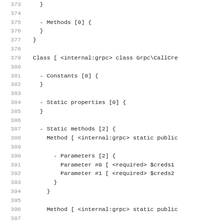Code listing lines 373-402 showing PHP reflection output for Grpc\CallCredentials class structure including Methods, Constants, Static properties, Static methods, Parameters blocks